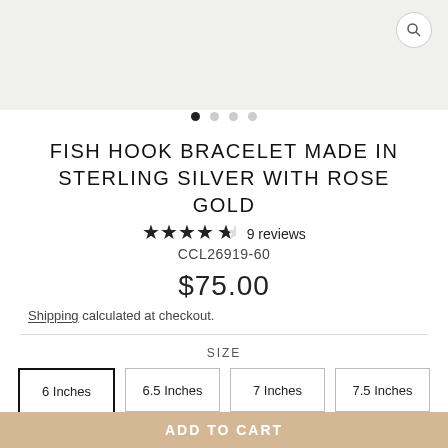[Figure (photo): Top portion of product image showing a silver bracelet on light gray background]
FISH HOOK BRACELET MADE IN STERLING SILVER WITH ROSE GOLD
★★★★☆ 9 reviews
CCL26919-60
$75.00
Shipping calculated at checkout.
SIZE
6 Inches | 6.5 Inches | 7 Inches | 7.5 Inches | 8 Inches
ADD TO CART